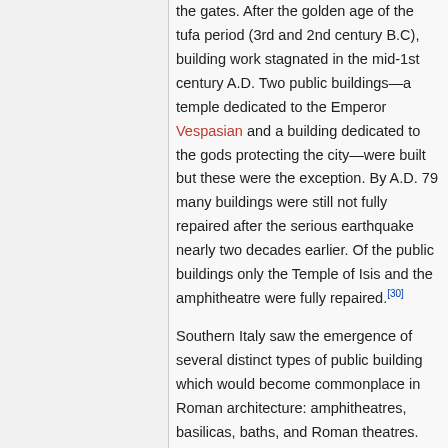the gates. After the golden age of the tufa period (3rd and 2nd century B.C), building work stagnated in the mid-1st century A.D. Two public buildings—a temple dedicated to the Emperor Vespasian and a building dedicated to the gods protecting the city—were built but these were the exception. By A.D. 79 many buildings were still not fully repaired after the serious earthquake nearly two decades earlier. Of the public buildings only the Temple of Isis and the amphitheatre were fully repaired.[30]
Southern Italy saw the emergence of several distinct types of public building which would become commonplace in Roman architecture: amphitheatres, basilicas, baths, and Roman theatres. Pompeii includes examples of these, offering insight into the building fashions